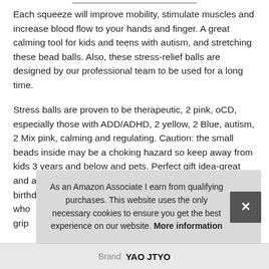Each squeeze will improve mobility, stimulate muscles and increase blood flow to your hands and finger. A great calming tool for kids and teens with autism, and stretching these bead balls. Also, these stress-relief balls are designed by our professional team to be used for a long time.
Stress balls are proven to be therapeutic, 2 pink, oCD, especially those with ADD/ADHD, 2 yellow, 2 Blue, autism, 2 Mix pink, calming and regulating. Caution: the small beads inside may be a choking hazard so keep away from kids 3 years and below and pets. Perfect gift idea-great and adorable balls toys for christmas stocking stuffer, birthday party, and othe[r...] who[...] grip[...]
As an Amazon Associate I earn from qualifying purchases. This website uses the only necessary cookies to ensure you get the best experience on our website. More information
| Brand |  |
| --- | --- |
| Brand | YAO JTYO |